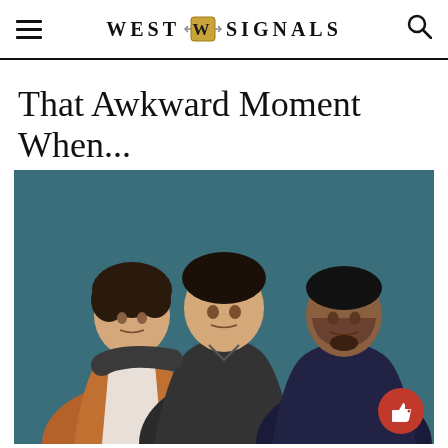WEST W SIGNALS
That Awkward Moment When...
[Figure (photo): Three young men posed against a dark teal background — promotional photo from the film 'That Awkward Moment'. Left: man in a brown hoodie over white shirt. Center: man in a dark button-up shirt with arm around the first. Right: man in a dark navy shirt.]